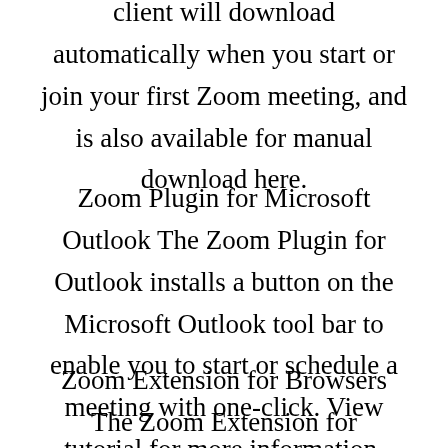client will download automatically when you start or join your first Zoom meeting, and is also available for manual download here.
Zoom Plugin for Microsoft Outlook The Zoom Plugin for Outlook installs a button on the Microsoft Outlook tool bar to enable you to start or schedule a meeting with one-click. View tutorial for more information.
Zoom Extension for Browsers The Zoom Extension for Browsers allows you to start or